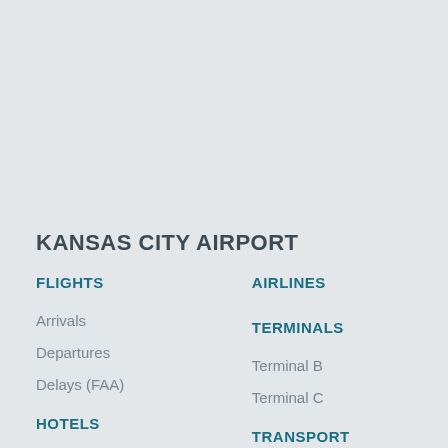KANSAS CITY AIRPORT
FLIGHTS
Arrivals
Departures
Delays (FAA)
AIRLINES
TERMINALS
Terminal B
Terminal C
HOTELS
TRANSPORT
Bus